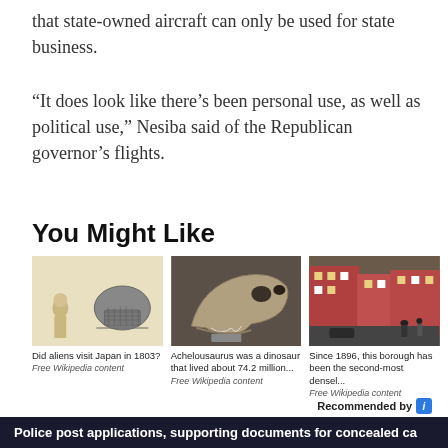that state-owned aircraft can only be used for state business.
“It does look like there’s been personal use, as well as political use,” Nesiba said of the Republican governor’s flights.
You Might Like
[Figure (photo): Three thumbnail images side by side: an illustration of aliens visiting Japan in 1803, a dinosaur skull fossil (Achelousaurus), and a street scene from a borough since 1896.]
Did aliens visit Japan in 1803? Free Wikipedia content
Achelousaurus was a dinosaur that lived about 74.2 million... Free Wikipedia content
Since 1896, this borough has been the second-most densel... Free Wikipedia content
Recommended by
Police post applications, supporting documents for concealed ca